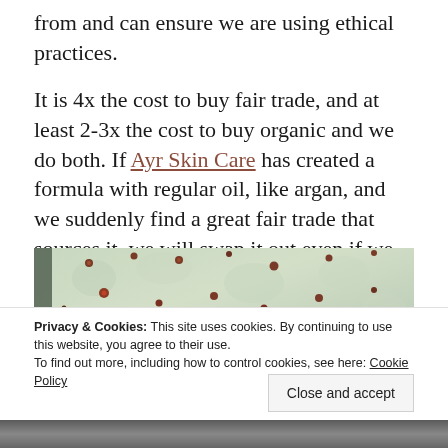from and can ensure we are using ethical practices.
It is 4x the cost to buy fair trade, and at least 2-3x the cost to buy organic and we do both. If Ayr Skin Care has created a formula with regular oil, like argan, and we suddenly find a great fair trade that sources it, we will swap it out even if we lose money – it is that important to us.
[Figure (photo): Close-up photo of a cactus pad with spines and reddish spots/fruit, green textured surface.]
Privacy & Cookies: This site uses cookies. By continuing to use this website, you agree to their use.
To find out more, including how to control cookies, see here: Cookie Policy
Close and accept
[Figure (photo): Partial bottom image, dark tones.]